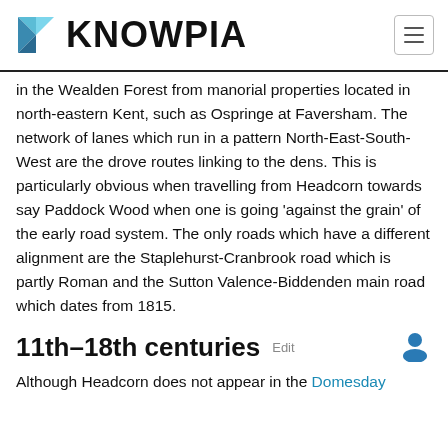KNOWPIA
in the Wealden Forest from manorial properties located in north-eastern Kent, such as Ospringe at Faversham. The network of lanes which run in a pattern North-East-South-West are the drove routes linking to the dens. This is particularly obvious when travelling from Headcorn towards say Paddock Wood when one is going 'against the grain' of the early road system. The only roads which have a different alignment are the Staplehurst-Cranbrook road which is partly Roman and the Sutton Valence-Biddenden main road which dates from 1815.
11th–18th centuries
Although Headcorn does not appear in the Domesday